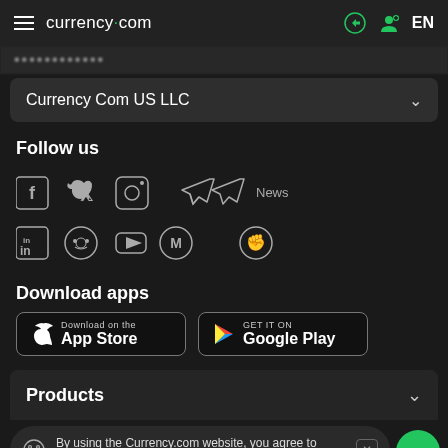currency.com  EN
Currency Com US LLC
Follow us
[Figure (illustration): Social media icons row 1: Facebook, Twitter, Instagram, Telegram, Telegram News]
[Figure (illustration): Social media icons row 2: LinkedIn, Reddit, YouTube, CoinMarketCap, other icon]
Download apps
[Figure (illustration): App Store and Google Play download buttons]
Products
By using the Currency.com website, you agree to the use of cookies.
Learn to trade